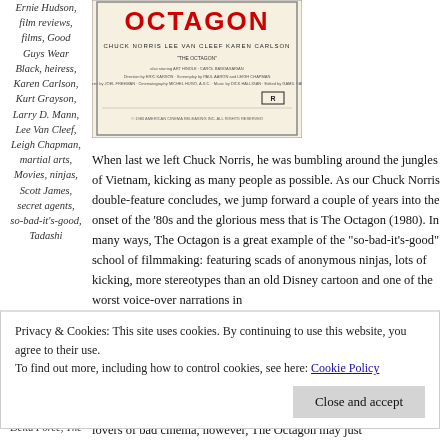Ernie Hudson, film reviews, films, Good Guys Wear Black, heiress, Karen Carlson, Kurt Grayson, Larry D. Mann, Lee Van Cleef, Leigh Chapman, martial arts, Movies, ninjas, Scott James, secret agents, so-bad-it's-good, Tadashi
[Figure (photo): Movie poster for The Octagon featuring Chuck Norris, Lee Van Cleef, and Karen Carlson]
When last we left Chuck Norris, he was bumbling around the jungles of Vietnam, kicking as many people as possible. As our Chuck Norris double-feature concludes, we jump forward a couple of years into the onset of the ‘80s and the glorious mess that is The Octagon (1980). In many ways, The Octagon is a great example of the “so-bad-it’s-good” school of filmmaking: featuring scads of anonymous ninjas, lots of kicking, more stereotypes than an old Disney cartoon and one of the worst voice-over narrations in
Privacy & Cookies: This site uses cookies. By continuing to use this website, you agree to their use.
To find out more, including how to control cookies, see here: Cookie Policy
Close and accept
Delta Force, The
lovers of bad cinema, however, The Octagon may just